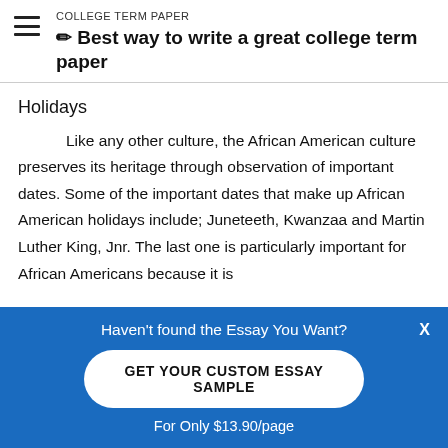COLLEGE TERM PAPER
✏ Best way to write a great college term paper
Holidays
Like any other culture, the African American culture preserves its heritage through observation of important dates. Some of the important dates that make up African American holidays include; Juneteeth, Kwanzaa and Martin Luther King, Jnr. The last one is particularly important for African Americans because it is
Haven't found the Essay You Want?
GET YOUR CUSTOM ESSAY SAMPLE
For Only $13.90/page